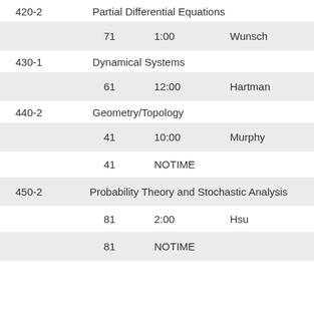| Course | Section | Time | Instructor |
| --- | --- | --- | --- |
| 420-2 | Partial Differential Equations |  |  |
|  | 71 | 1:00 | Wunsch |
| 430-1 | Dynamical Systems |  |  |
|  | 61 | 12:00 | Hartman |
| 440-2 | Geometry/Topology |  |  |
|  | 41 | 10:00 | Murphy |
|  | 41 | NOTIME |  |
| 450-2 | Probability Theory and Stochastic Analysis |  |  |
|  | 81 | 2:00 | Hsu |
|  | 81 | NOTIME |  |